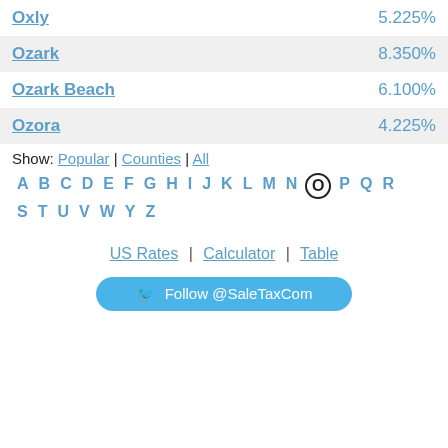| City | Rate |
| --- | --- |
| Oxly | 5.225% |
| Ozark | 8.350% |
| Ozark Beach | 6.100% |
| Ozora | 4.225% |
Show: Popular | Counties | All
A B C D E F G H I J K L M N O P Q R S T U V W Y Z
US Rates | Calculator | Table
Follow @SaleTaxCom